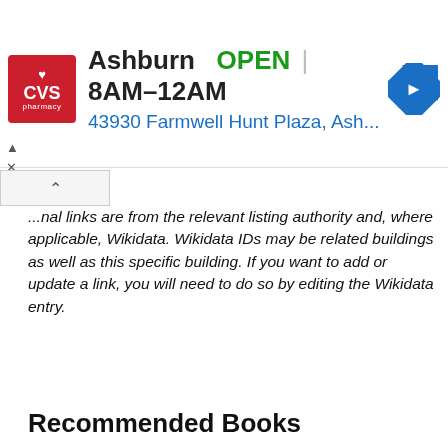[Figure (screenshot): CVS Pharmacy advertisement banner showing Ashburn store, OPEN 8AM-12AM, address 43930 Farmwell Hunt Plaza, Ash...]
...nal links are from the relevant listing authority and, where applicable, Wikidata. Wikidata IDs may be related buildings as well as this specific building. If you want to add or update a link, you will need to do so by editing the Wikidata entry.
Recommended Books
[Figure (photo): Book cover: Norfolk 1: Norwich and North-East]
[Figure (photo): Book covers: Period Property Manual and The Victorian House Manual]
Period property manual, victorian
[Figure (photo): Book cover: Somerset: North and Bristol]